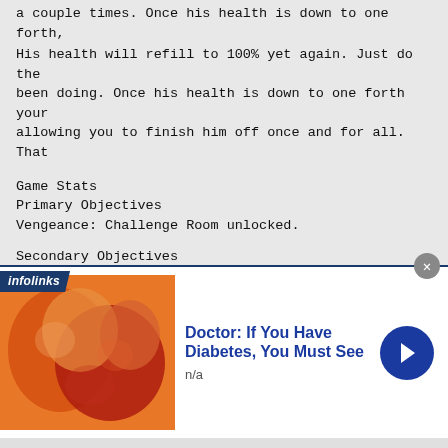a couple times. Once his health is down to one forth,
His health will refill to 100% yet again. Just do the been doing. Once his health is down to one forth your allowing you to finish him off once and for all. That
Game Stats
Primary Objectives
Vengeance: Challenge Room unlocked.
Secondary Objectives
Not sure Please email me if you know.
/
---Mission 16 "End Game"--- [EG19]--------------------
-----------------------------------------------------------
\
Primary Objectives
Vengeance: Find stryker and make him pay
[Figure (infographic): Infolinks advertisement banner with image of fruit/gummies and text 'Doctor: If You Have Diabetes, You Must See']